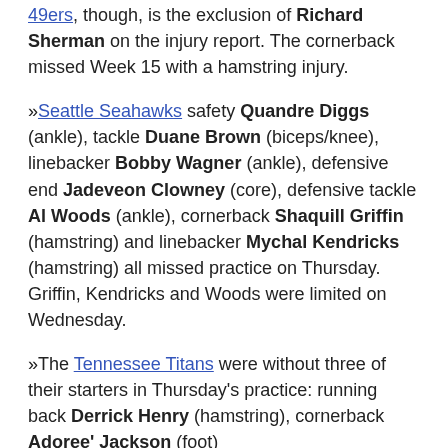49ers, though, is the exclusion of Richard Sherman on the injury report. The cornerback missed Week 15 with a hamstring injury.
»Seattle Seahawks safety Quandre Diggs (ankle), tackle Duane Brown (biceps/knee), linebacker Bobby Wagner (ankle), defensive end Jadeveon Clowney (core), defensive tackle Al Woods (ankle), cornerback Shaquill Griffin (hamstring) and linebacker Mychal Kendricks (hamstring) all missed practice on Thursday. Griffin, Kendricks and Woods were limited on Wednesday.
»The Tennessee Titans were without three of their starters in Thursday's practice: running back Derrick Henry (hamstring), cornerback Adoree' Jackson (foot)
[Figure (other): Social sharing icons: Facebook, Twitter, Email, Link]